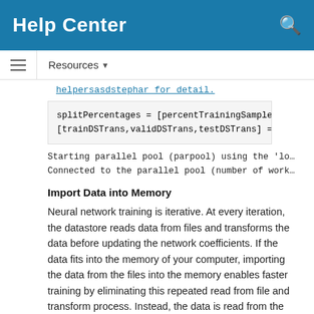Help Center
Resources ▾
helpersasdstephar for detail.
splitPercentages = [percentTrainingSamples,per...
[trainDSTrans,validDSTrans,testDSTrans] = help
Starting parallel pool (parpool) using the 'lo...
Connected to the parallel pool (number of work...
Import Data into Memory
Neural network training is iterative. At every iteration, the datastore reads data from files and transforms the data before updating the network coefficients. If the data fits into the memory of your computer, importing the data from the files into the memory enables faster training by eliminating this repeated read from file and transform process. Instead, the data is read from the files and transformed once. Training this network using data files on disk takes about 110 minutes while training using in-memory data takes about 50 min.
Import all the data in the files into memory. The files have two